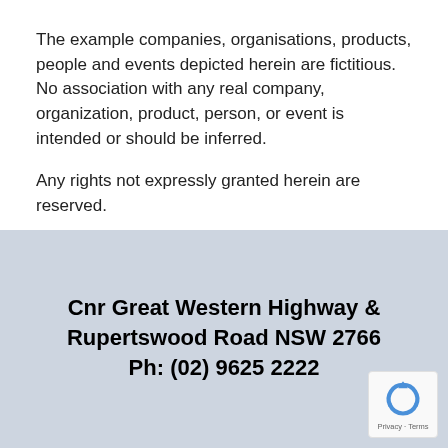The example companies, organisations, products, people and events depicted herein are fictitious. No association with any real company, organization, product, person, or event is intended or should be inferred.
Any rights not expressly granted herein are reserved.
Cnr Great Western Highway & Rupertswood Road NSW 2766 Ph: (02) 9625 2222